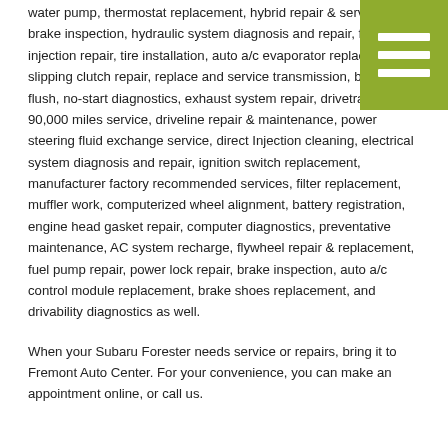water pump, thermostat replacement, hybrid repair & service, brake inspection, hydraulic system diagnosis and repair, fuel injection repair, tire installation, auto a/c evaporator replacement, slipping clutch repair, replace and service transmission, brake fluid flush, no-start diagnostics, exhaust system repair, drivetrain repair, 90,000 miles service, driveline repair & maintenance, power steering fluid exchange service, direct Injection cleaning, electrical system diagnosis and repair, ignition switch replacement, manufacturer factory recommended services, filter replacement, muffler work, computerized wheel alignment, battery registration, engine head gasket repair, computer diagnostics, preventative maintenance, AC system recharge, flywheel repair & replacement, fuel pump repair, power lock repair, brake inspection, auto a/c control module replacement, brake shoes replacement, and drivability diagnostics as well.
When your Subaru Forester needs service or repairs, bring it to Fremont Auto Center. For your convenience, you can make an appointment online, or call us.